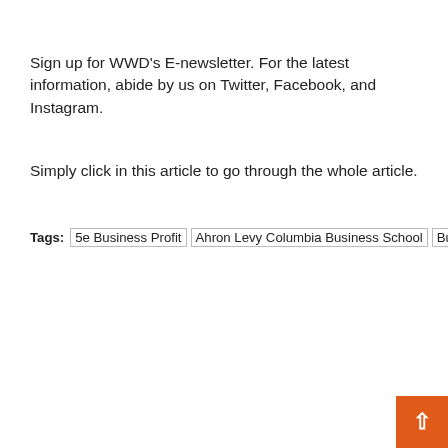Sign up for WWD's E-newsletter. For the latest information, abide by us on Twitter, Facebook, and Instagram.
Simply click in this article to go through the whole article.
Tags: 5e Business Profit | Ahron Levy Columbia Business School | Business Consultant Certification Austin | Business Insurance Cover Coronavirus | Business Letter With Logo Example | Business Located Easy Location | Business Platform Stocks | Business Positions Seattle | Business Regulation Legal Services | chief | Daystarr For Business | Dimagi Business Development Toolkit Disappearing | Do Business Schools Accept Entreprenuers | Editor | Enironmentall Friendly Business Ideas | Eric Early Republican Business Owner | Essec Business School Dean | Essential Business To Remain Open | Example Small Business | Fall Winter Business Hours Template | Fdot Woman Owned Business Certification | First Business Women United States | Com Business | Fixing A Damaged Reputation Business | Flo Business Enforcement | Free Small Business Communication | Law School Business Entity Outlines | magazine | Mapping A Business Location | Medical Business Trends Economics | Mix Business And Personal Money | Mlm Nit Small Business Legally | New Business Agency Sales Questions | Patricia Reihi Women's